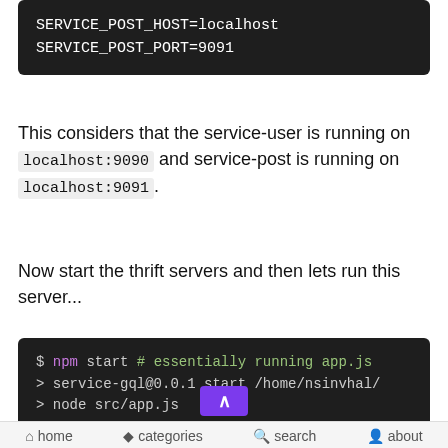SERVICE_POST_HOST=localhost
SERVICE_POST_PORT=9091
This considers that the service-user is running on localhost:9090 and service-post is running on localhost:9091.
Now start the thrift servers and then lets run this server...
$ npm start # essentially running app.js
> service-gql@0.0.1 start /home/nsinvhal/
> node src/app.js

(59254) [2020-05- 29:27.651Z] info:
home   categories   search   about